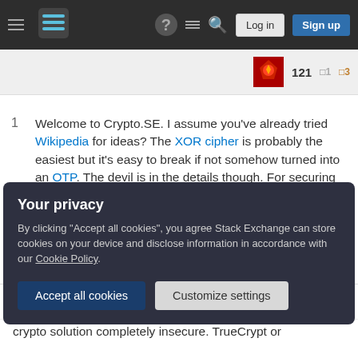Stack Exchange navigation bar with hamburger menu, logo, help, chat, search icons, Log in and Sign up buttons
121  □1  □3
1  Welcome to Crypto.SE. I assume you've already tried Wikipedia for ideas? The XOR cipher is probably the easiest but it's easy to break if not somehow turned into an OTP. The devil is in the details though. For securing sensitive information I'd suggest using GnuPG or TrueCrypt or any other freely available software (don't roll your own!). Anyway this question might be off-topic as it's a bit subjective and invites list answers. Good luck! – rath Aug 8, 2013 at 21:11 ✎
Your privacy
By clicking "Accept all cookies", you agree Stack Exchange can store cookies on your device and disclose information in accordance with our Cookie Policy.
Accept all cookies
Customize settings
crypto solution completely insecure. TrueCrypt or